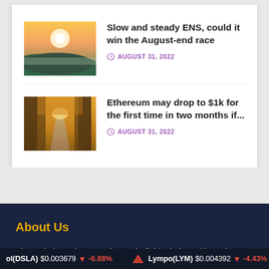[Figure (photo): Thumbnail photo of a sunrise over misty green hills/mountains]
Slow and steady ENS, could it win the August-end race
AUGUST 31, 2022
[Figure (photo): Thumbnail photo of a forest path with autumn foliage and warm light]
Ethereum may drop to $1k for the first time in two months if...
AUGUST 31, 2022
About Us
The website strives to educate individuals in making wise choices about Cryptocurrencies, Mining, Financial Market, and more.
ol(DSLA) $0.003679 ↓ -6.88%  Lympo(LYM) $0.004392 ↓ -4.43%